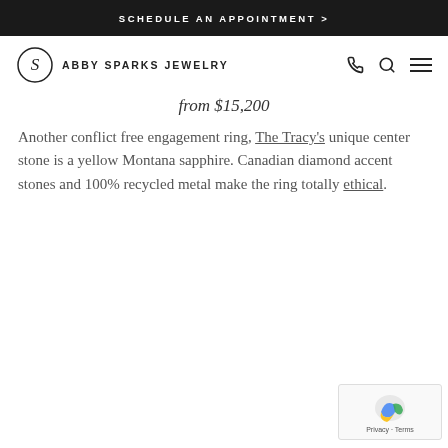SCHEDULE AN APPOINTMENT >
[Figure (logo): Abby Sparks Jewelry logo with circular monogram S icon and brand name, plus phone, search, and hamburger menu icons]
from $15,200
Another conflict free engagement ring, The Tracy's unique center stone is a yellow Montana sapphire. Canadian diamond accent stones and 100% recycled metal make the ring totally ethical.